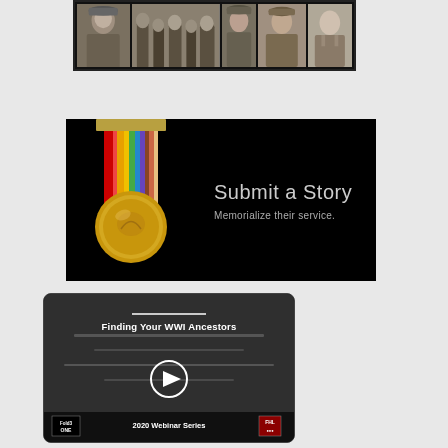[Figure (photo): Strip of black and white historical portrait photos of WWI-era soldiers and individuals, displayed in a row against a dark background]
[Figure (photo): Dark banner with a WWI victory medal on the left side with colorful ribbon, and text 'Submit a Story - Memorialize their service.' on a black background]
[Figure (screenshot): Video thumbnail for 'Finding Your WWI Ancestors' webinar with a play button, logos for 'Fold3 ONE' and another organization, labeled '2020 Webinar Series']